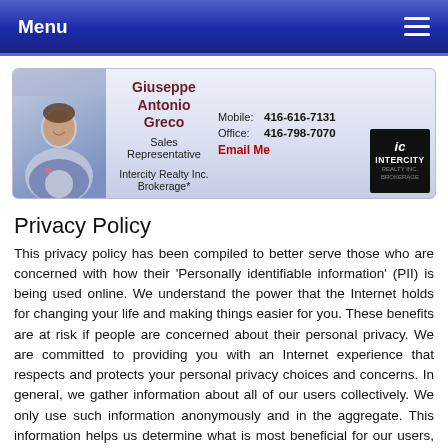Menu
[Figure (infographic): Agent profile card for Giuseppe Antonio Greco, Sales Representative at Intercity Realty Inc. Brokerage*, showing photo, contact info (Mobile: 416-616-7131, Office: 416-798-7070, Email Me), and Intercity logo.]
Privacy Policy
This privacy policy has been compiled to better serve those who are concerned with how their 'Personally identifiable information' (PII) is being used online. We understand the power that the Internet holds for changing your life and making things easier for you. These benefits are at risk if people are concerned about their personal privacy. We are committed to providing you with an Internet experience that respects and protects your personal privacy choices and concerns. In general, we gather information about all of our users collectively. We only use such information anonymously and in the aggregate. This information helps us determine what is most beneficial for our users, and how we can continually create a better overall experience for you. Please read our privacy policy carefully to